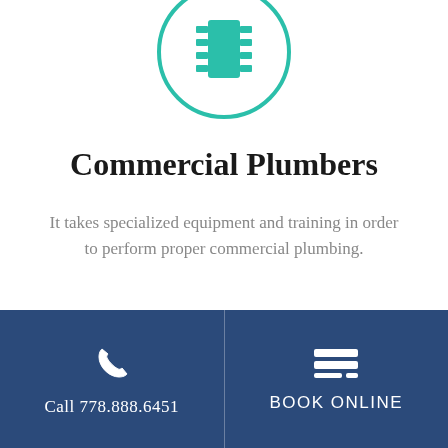[Figure (illustration): Teal circular icon with a plumbing pipe/connector symbol in the center, partially cropped at top]
Commercial Plumbers
It takes specialized equipment and training in order to perform proper commercial plumbing.
[Figure (illustration): Teal circular icon with a shield symbol inside, partially cropped at bottom]
Call 778.888.6451
BOOK ONLINE